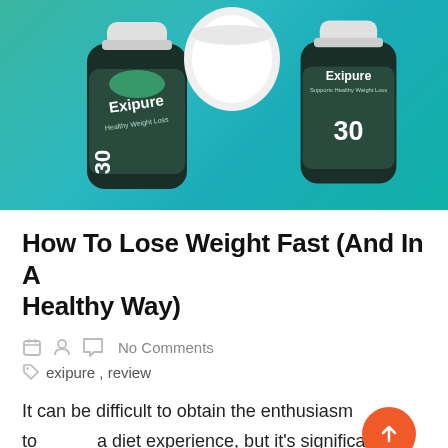[Figure (photo): Product photo of Exipure dietary supplement bottles on a teal/green gradient background. Two dark green bottles with 'Exipure' label and '30' on them, one bottle on its side showing the cap, with text 'Supports Healthy Weight Loss'.]
How To Lose Weight Fast (And In A Healthy Way)
No Comments
exipure , review
It can be difficult to obtain the enthusiasm to start a diet experience, but it's significant. There are so many great things about shedding pounds, which include much better physical health and self-confidence. If you're battling with your weight, here